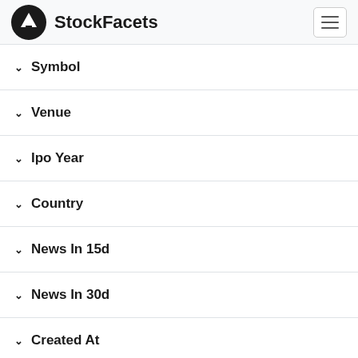StockFacets
Symbol
Venue
Ipo Year
Country
News In 15d
News In 30d
Created At